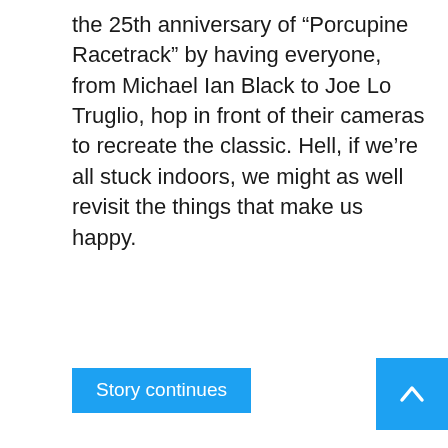the 25th anniversary of “Porcupine Racetrack” by having everyone, from Michael Ian Black to Joe Lo Truglio, hop in front of their cameras to recreate the classic. Hell, if we’re all stuck indoors, we might as well revisit the things that make us happy.
Story continues
Hundreds of Hours Worth of 1980s-Era MTV Programming Uploaded Online
Nina Corcoran
Popular Posts
Subscribe to Consequence of Sound’s email digest and get the latest breaking news in music, film, television, tour updates, access to exclusive giveaways, and more straight to your inbox.